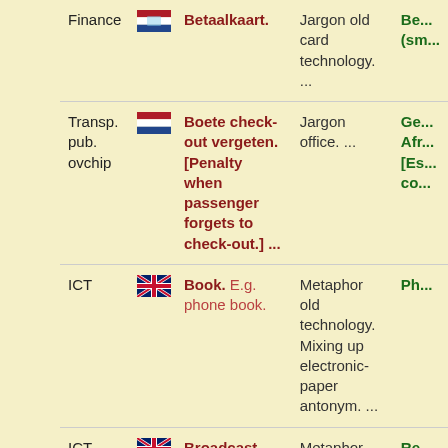| Category | Flag | Term | Description | Translation |
| --- | --- | --- | --- | --- |
| Finance | NL | Betaalkaart. | Jargon old card technology. ... | Be...(sm... |
| Transp. pub. ovchip | NL | Boete check-out vergeten. [Penalty when passenger forgets to check-out.] ... | Jargon office. ... | Ge... Afr... [Es... co... |
| ICT | UK | Book. E.g. phone book. | Metaphor old technology. Mixing up electronic-paper antonym. ... | Ph... |
| ICT | UK | Broadcast (sent to all). | Metaphor old technology. ... | Re... |